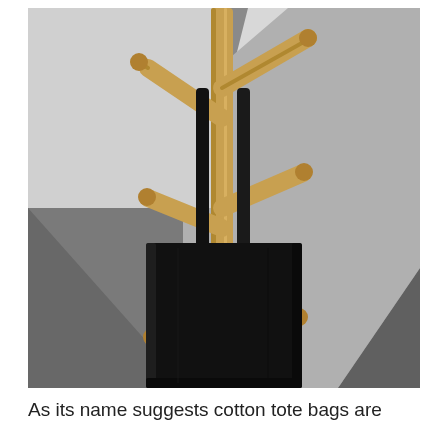[Figure (photo): A black cotton tote bag hanging from a wooden coat rack/stand with multiple branch-like hooks. The background shows a light grey and dark grey geometric wall. The bag hangs by its black strap over a wooden peg.]
As its name suggests cotton tote bags are